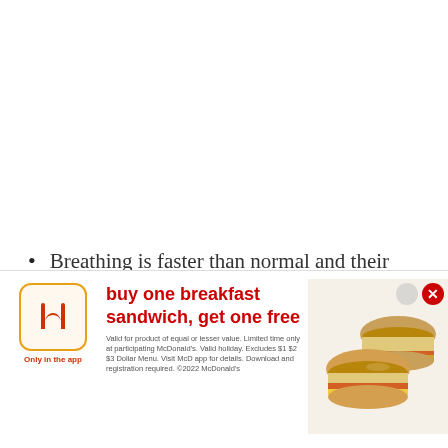Breathing is faster than normal and their heart rate is high.
The gums and their tongue change to a blush color.
[Figure (other): McDonald's in-app advertisement banner showing buy one breakfast sandwich, get one free offer with image of breakfast sandwiches. Fine print: Valid for product of equal or lesser value. Limited time only at participating McDonald's. Valid holiday. Excludes $1 $2 $3 Dollar Menu. Visit McD app for details. Download and registration required. ©2022 McDonald's. Only in the app.]